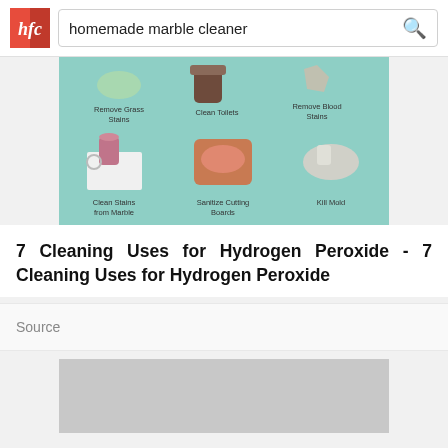homemade marble cleaner
[Figure (infographic): Infographic showing 7 cleaning uses for hydrogen peroxide: Remove Grass Stains, Clean Toilets, Remove Blood Stains, Clean Stains from Marble, Sanitize Cutting Boards, Kill Mold]
7 Cleaning Uses for Hydrogen Peroxide - 7 Cleaning Uses for Hydrogen Peroxide
Source
[Figure (photo): Partially visible gray/loading image at the bottom of the page]